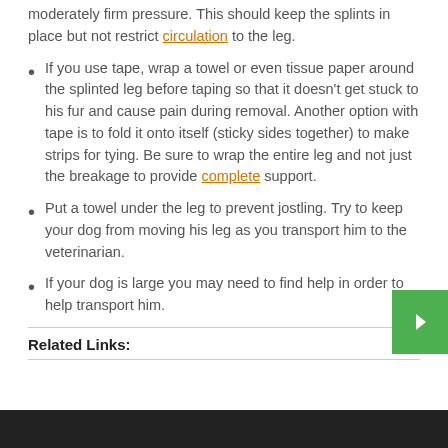at a splint alongside your dog's injured leg and secure with moderately firm pressure. This should keep the splints in place but not restrict circulation to the leg.
If you use tape, wrap a towel or even tissue paper around the splinted leg before taping so that it doesn't get stuck to his fur and cause pain during removal. Another option with tape is to fold it onto itself (sticky sides together) to make strips for tying. Be sure to wrap the entire leg and not just the breakage to provide complete support.
Put a towel under the leg to prevent jostling. Try to keep your dog from moving his leg as you transport him to the veterinarian.
If your dog is large you may need to find help in order to help transport him.
Related Links: